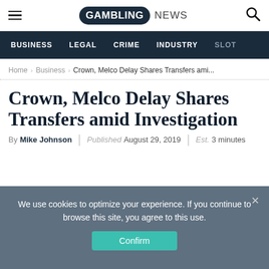GAMBLING NEWS
BUSINESS | LEGAL | CRIME | INDUSTRY | SLOT
Home > Business > Crown, Melco Delay Shares Transfers ami...
Crown, Melco Delay Shares Transfers amid Investigation
By Mike Johnson | Published August 29, 2019 | Est. 3 minutes
We use cookies to optimize your experience. If you continue to browse this site, you agree to this use.